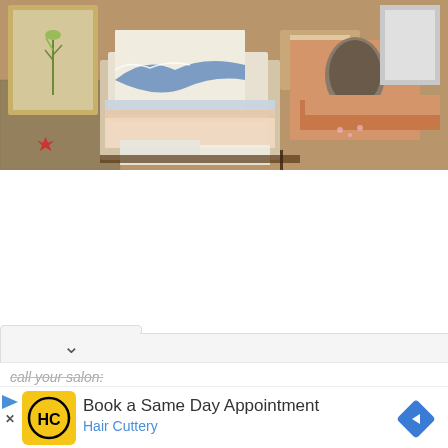[Figure (photo): A cluttered table or market stall covered with Japanese art prints, paintings, books, and illustrated materials. Visible items include a copy of 'The Great Wave off Kanagawa', framed botanical art, illustrated books with Japanese imagery including cherry blossoms and portraits, and various papers and cards scattered across wooden surfaces.]
call your salon:
[Figure (logo): Hair Cuttery HC logo - yellow square with black circle containing HC letters]
Book a Same Day Appointment
Hair Cuttery